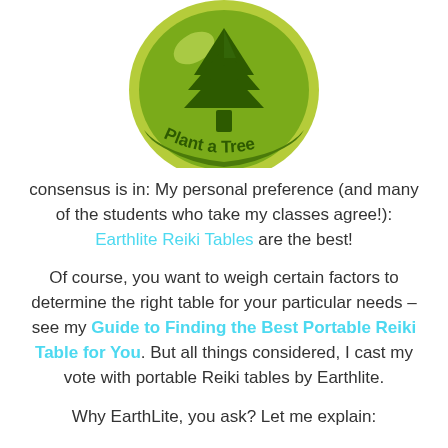[Figure (logo): Circular green badge/logo with a dark green tree icon in the center and the text 'Plant a Tree' in dark green lettering on a light green background]
consensus is in: My personal preference (and many of the students who take my classes agree!): Earthlite Reiki Tables are the best!

Of course, you want to weigh certain factors to determine the right table for your particular needs – see my Guide to Finding the Best Portable Reiki Table for You. But all things considered, I cast my vote with portable Reiki tables by Earthlite.

Why EarthLite, you ask? Let me explain: